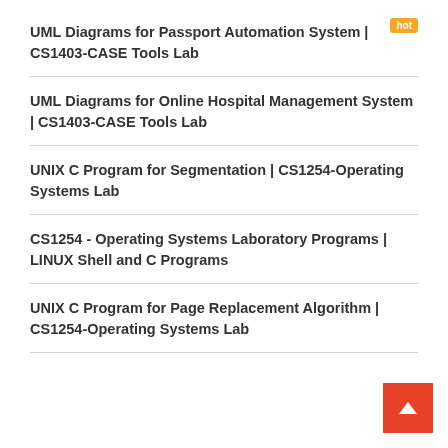UML Diagrams for Passport Automation System | CS1403-CASE Tools Lab
UML Diagrams for Online Hospital Management System | CS1403-CASE Tools Lab
UNIX C Program for Segmentation | CS1254-Operating Systems Lab
CS1254 - Operating Systems Laboratory Programs | LINUX Shell and C Programs
UNIX C Program for Page Replacement Algorithm | CS1254-Operating Systems Lab